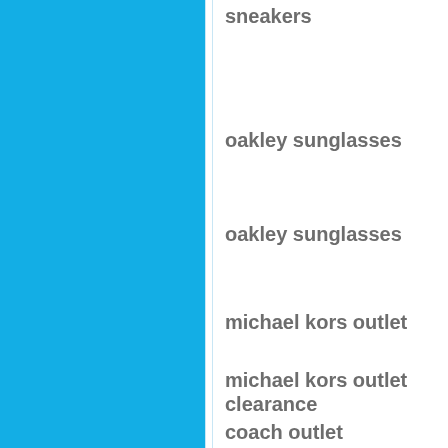sneakers
oakley sunglasses
oakley sunglasses
michael kors outlet
michael kors outlet clearance
coach outlet